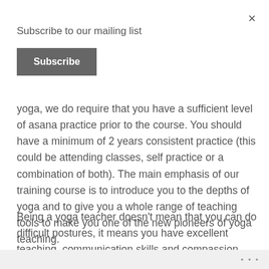×
Subscribe to our mailing list
Subscribe
yoga, we do require that you have a sufficient level of asana practice prior to the course. You should have a minimum of 2 years consistent practice (this could be attending classes, self practice or a combination of both). The main emphasis of our training course is to introduce you to the depths of yoga and to give you a whole range of teaching tools to make you one of the new pioneers of yoga teaching.
Being a yoga teacher doesn't mean that you can do difficult postures, it means you have excellent teaching, communication skills and compassion. Our